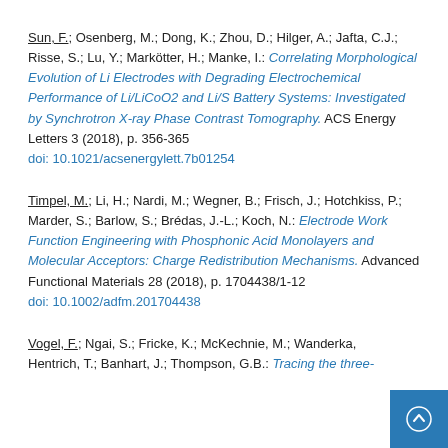Sun, F.; Osenberg, M.; Dong, K.; Zhou, D.; Hilger, A.; Jafta, C.J.; Risse, S.; Lu, Y.; Markötter, H.; Manke, I.: Correlating Morphological Evolution of Li Electrodes with Degrading Electrochemical Performance of Li/LiCoO2 and Li/S Battery Systems: Investigated by Synchrotron X-ray Phase Contrast Tomography. ACS Energy Letters 3 (2018), p. 356-365 doi: 10.1021/acsenergylett.7b01254
Timpel, M.; Li, H.; Nardi, M.; Wegner, B.; Frisch, J.; Hotchkiss, P.; Marder, S.; Barlow, S.; Brédas, J.-L.; Koch, N.: Electrode Work Function Engineering with Phosphonic Acid Monolayers and Molecular Acceptors: Charge Redistribution Mechanisms. Advanced Functional Materials 28 (2018), p. 1704438/1-12 doi: 10.1002/adfm.201704438
Vogel, F.; Ngai, S.; Fricke, K.; McKechnie, M.; Wanderka, Hentrich, T.; Banhart, J.; Thompson, G.B.: Tracing the three-